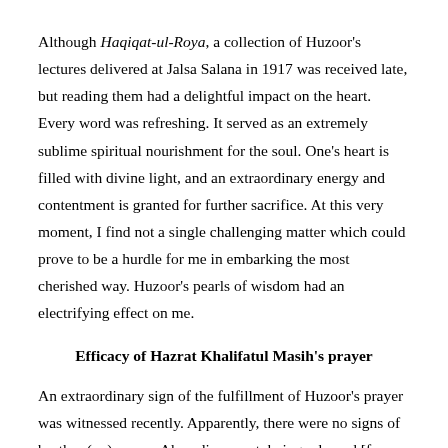Although Haqiqat-ul-Roya, a collection of Huzoor's lectures delivered at Jalsa Salana in 1917 was received late, but reading them had a delightful impact on the heart. Every word was refreshing. It served as an extremely sublime spiritual nourishment for the soul. One's heart is filled with divine light, and an extraordinary energy and contentment is granted for further sacrifice. At this very moment, I find not a single challenging matter which could prove to be a hurdle for me in embarking the most cherished way. Huzoor's pearls of wisdom had an electrifying effect on me.
Efficacy of Hazrat Khalifatul Masih's prayer
An extraordinary sign of the fulfillment of Huzoor's prayer was witnessed recently. Apparently, there were no signs of brother (…), a new Ahmadi convert, being released [from prison]. According to the circumstances around, India was most likely to be a long...